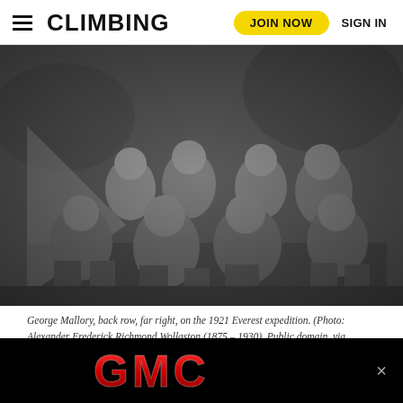CLIMBING | JOIN NOW | SIGN IN
[Figure (photo): Black and white group photograph of eight men — four standing in the back row, four seated in the front row — outdoors in rugged terrain. Caption identifies George Mallory as back row, far right, on the 1921 Everest expedition.]
George Mallory, back row, far right, on the 1921 Everest expedition. (Photo: Alexander Frederick Richmond Wollaston (1875 – 1930), Public domain, via
[Figure (logo): GMC advertisement banner — red GMC text logo on black background with a close button (×)]